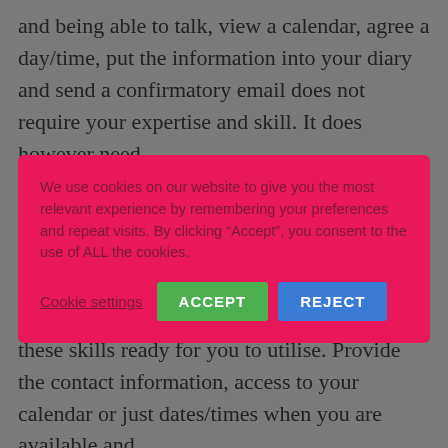and being able to talk, view a calendar, agree a day/time, put the information into your diary and send a confirmatory email does not require your expertise and skill. It does however need
We use cookies on our website to give you the most relevant experience by remembering your preferences and repeat visits. By clicking “Accept”, you consent to the use of ALL the cookies.
Cookie settings  ACCEPT  REJECT
simplest of this being they have a PA background (usually) which gives them all these skills ready for you to utilise. Provide the contact information, access to your calendar or just dates/times when you are available and